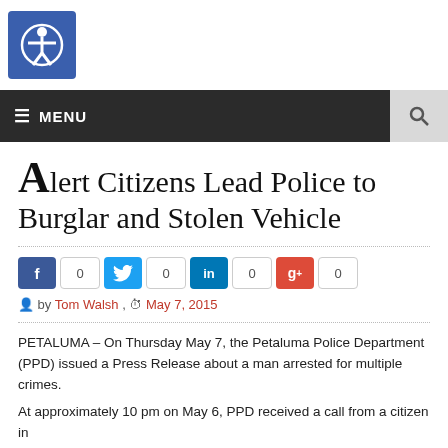[Figure (logo): Accessibility icon — white person with arms outstretched in a circle on blue rounded square background]
≡ MENU
Alert Citizens Lead Police to Burglar and Stolen Vehicle
by Tom Walsh , May 7, 2015
PETALUMA – On Thursday May 7, the Petaluma Police Department (PPD) issued a Press Release about a man arrested for multiple crimes.
At approximately 10 pm on May 6, PPD received a call from a citizen in